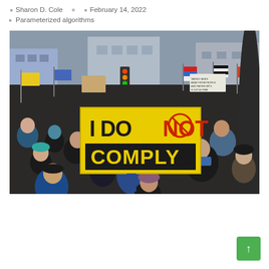Sharon D. Cole   February 14, 2022
Parameterized algorithms
[Figure (photo): A large protest crowd, many carrying signs and flags. In the center, a person holds a large yellow sign reading 'I DO NOT COMPLY' in bold black and red letters. People are dressed in winter clothing. Urban street setting with buildings and traffic lights visible.]